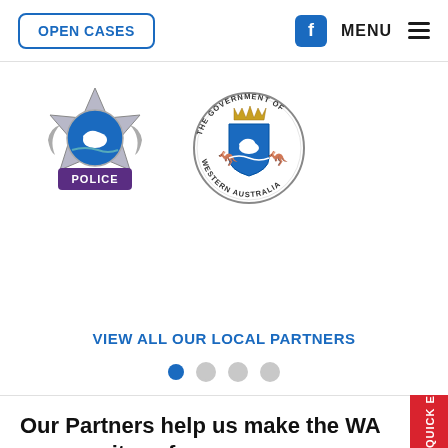OPEN CASES | MENU
[Figure (logo): Western Australia Police badge logo with blue star and POLICE text below]
[Figure (logo): The Government of Western Australia circular seal with kangaroo and black swan]
VIEW ALL OUR LOCAL PARTNERS
[Figure (other): Carousel navigation dots: one active (filled blue) and three inactive (grey)]
Our Partners help us make the WA community safer.
Find out more about how our partners support our operations